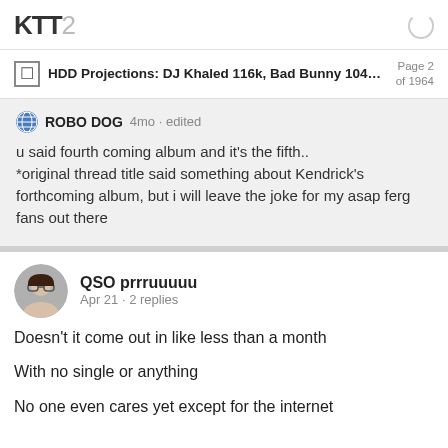KTT2
HDD Projections: DJ Khaled 116k, Bad Bunny 104k,... Page 2 of 1964
ROBO DOG 4mo · edited
u said fourth coming album and it's the fifth..
*original thread title said something about Kendrick's forthcoming album, but i will leave the joke for my asap ferg fans out there
QSO prrruuuuu
Apr 21 · 2 replies
Doesn't it come out in like less than a month
With no single or anything
No one even cares yet except for the internet